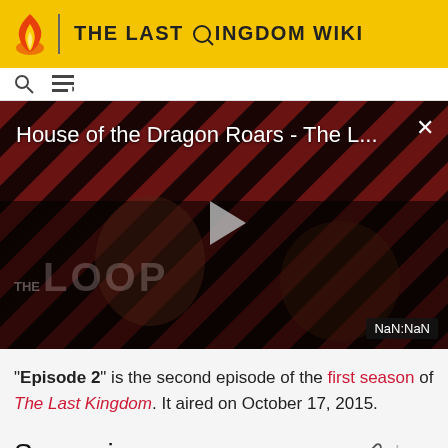THE LAST KINGDOM WIKI
[Figure (screenshot): Video player thumbnail showing 'House of the Dragon Roars - The L...' with a play button, THE LOOP branding, dark background with diagonal red and black stripes, and NaN:NaN duration badge]
"Episode 2" is the second episode of the first season of The Last Kingdom. It aired on October 17, 2015.
Synopsis